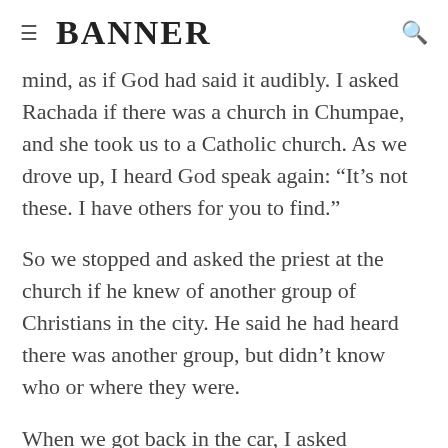BANNER
mind, as if God had said it audibly. I asked Rachada if there was a church in Chumpae, and she took us to a Catholic church. As we drove up, I heard God speak again: “It’s not these. I have others for you to find.”
So we stopped and asked the priest at the church if he knew of another group of Christians in the city. He said he had heard there was another group, but didn’t know who or where they were.
When we got back in the car, I asked Rachada to just start driving, trusting that